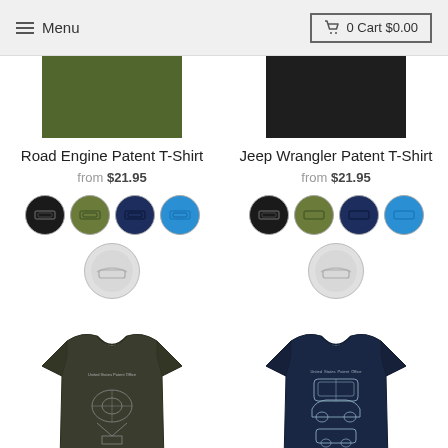Menu  |  0 Cart $0.00
[Figure (photo): Partial view of two t-shirts at top: olive green fabric swatch on left, black fabric swatch on right]
Road Engine Patent T-Shirt
from $21.95
Jeep Wrangler Patent T-Shirt
from $21.95
[Figure (photo): Color swatches for Road Engine Patent T-Shirt: black, olive, navy, bright blue circles, plus white/silver large circle]
[Figure (photo): Color swatches for Jeep Wrangler Patent T-Shirt: black, olive, navy, bright blue circles, plus white/silver large circle]
[Figure (photo): Dark olive/charcoal t-shirt with Road Engine patent blueprint print]
[Figure (photo): Navy t-shirt with Jeep Wrangler patent blueprint print]